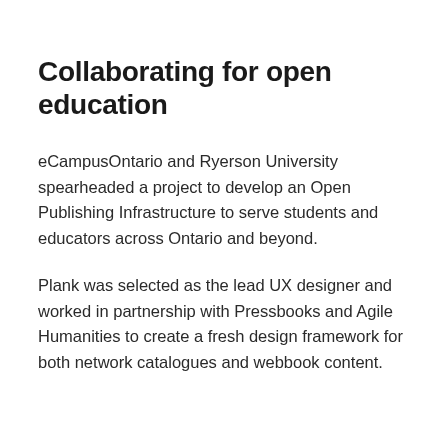Collaborating for open education
eCampusOntario and Ryerson University spearheaded a project to develop an Open Publishing Infrastructure to serve students and educators across Ontario and beyond.
Plank was selected as the lead UX designer and worked in partnership with Pressbooks and Agile Humanities to create a fresh design framework for both network catalogues and webbook content.